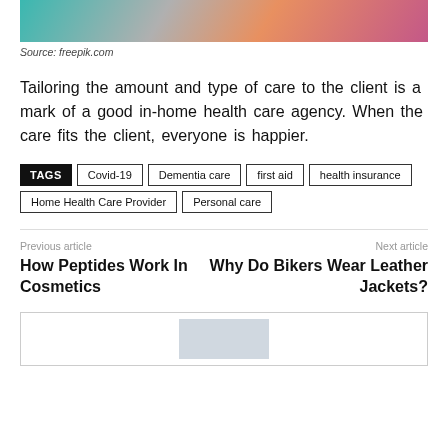[Figure (illustration): Top portion of an illustration showing healthcare workers/caregivers with a client, colorful cartoon style]
Source: freepik.com
Tailoring the amount and type of care to the client is a mark of a good in-home health care agency. When the care fits the client, everyone is happier.
TAGS: Covid-19, Dementia care, first aid, health insurance, Home Health Care Provider, Personal care
Previous article
How Peptides Work In Cosmetics
Next article
Why Do Bikers Wear Leather Jackets?
[Figure (photo): Bottom partial image, appears to be start of another article image]